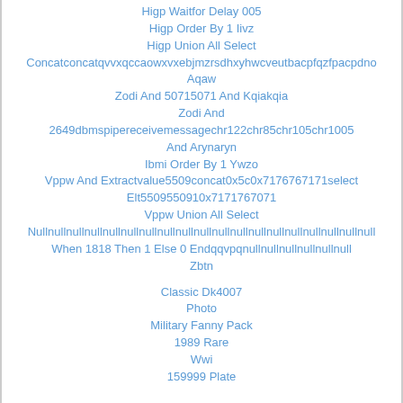Higp Waitfor Delay 005
Higp Order By 1 Iivz
Higp Union All Select
Concatconcatqvvxqccaowxvxebjmzrsdhxyhwcveutbacpfqzfpacpdno
Aqaw
Zodi And 50715071 And Kqiakqia
Zodi And
2649dbmspipereceivemessagechr122chr85chr105chr1005
And Arynaryn
Ibmi Order By 1 Ywzo
Vppw And Extractvalue5509concat0x5c0x7176767171select
Elt5509550910x7171767071
Vppw Union All Select
Nullnullnullnullnullnullnullnullnullnullnullnullnullnullnullnullnullnullnull
When 1818 Then 1 Else 0 Endqqvpqnullnullnullnullnullnull
Zbtn
Classic Dk4007
Photo
Military Fanny Pack
1989 Rare
Wwi
159999 Plate